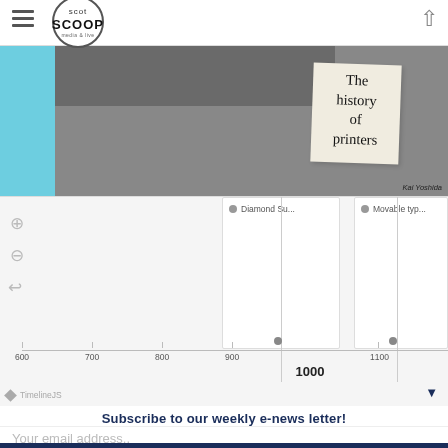Scot Scoop
[Figure (photo): Hero image showing a printer with a paper tag reading 'The history of printers' on a light blue background. Credit: Kai Yoshida]
[Figure (infographic): Interactive timeline showing history of printers with TimelineJS. Shows axis from 600 to 1100 with marker at 1000. Cards visible: 'Diamond Su...' and 'Movable typ...' Events marked at approximately 850 and 1020 on the timeline.]
Subscribe to our weekly e-news letter!
Your email address..
Subscribe